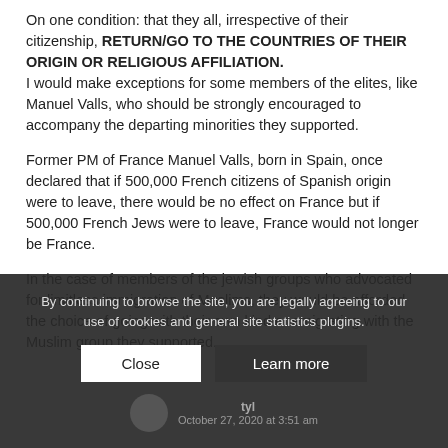On one condition: that they all, irrespective of their citizenship, RETURN/GO TO THE COUNTRIES OF THEIR ORIGIN OR RELIGIOUS AFFILIATION.
I would make exceptions for some members of the elites, like Manuel Valls, who should be strongly encouraged to accompany the departing minorities they supported.
Former PM of France Manuel Valls, born in Spain, once declared that if 500,000 French citizens of Spanish origin were to leave, there would be no effect on France but if 500,000 French Jews were to leave, France would not longer be France.
In the case of members of the jewish groups who advocated for limitless immigration of Muslims, they would be afforded the choice of going with their own kind or emigrating with the Muslim group they supported.
By continuing to browse the site, you are legally agreeing to our use of cookies and general site statistics plugins.
October 27, 2020 at 3:51 am